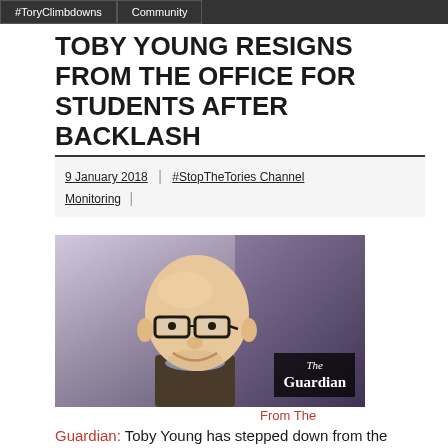#ToryClimbdowns | Community
TOBY YOUNG RESIGNS FROM THE OFFICE FOR STUDENTS AFTER BACKLASH
9 January 2018 | #StopTheTories Channel Monitoring |
[Figure (photo): Photo of Toby Young, a bald man with glasses wearing a dark jacket, smiling. The Guardian logo overlay in bottom right.]
From The Guardian:
Toby Young has stepped down from the Office for Students less than 24 hours after the